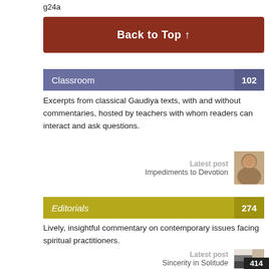g24a
Back to Top ↑
Classroom  102
Excerpts from classical Gaudiya texts, with and without commentaries, hosted by teachers with whom readers can interact and ask questions.
Latest post
Impediments to Devotion
Editorials  274
Lively, insightful commentary on contemporary issues facing spiritual practitioners.
Latest post
Sincerity in Solitude
414